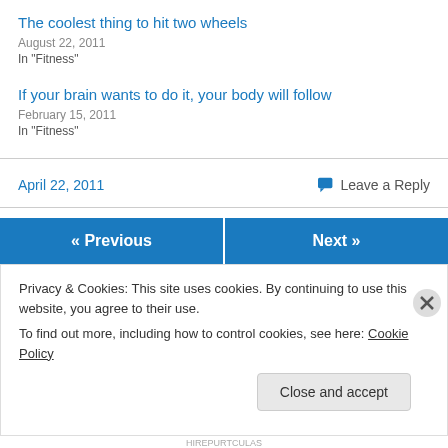The coolest thing to hit two wheels
August 22, 2011
In "Fitness"
If your brain wants to do it, your body will follow
February 15, 2011
In "Fitness"
April 22, 2011
Leave a Reply
« Previous
Next »
Privacy & Cookies: This site uses cookies. By continuing to use this website, you agree to their use.
To find out more, including how to control cookies, see here: Cookie Policy
Close and accept